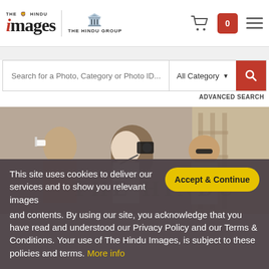The Hindu Images — The Hindu Group header with search bar
[Figure (screenshot): The Hindu Images website screenshot showing logo, search bar, hero image of tourists photographing, and cookie consent banner]
This site uses cookies to deliver our services and to show you relevant images and contents. By using our site, you acknowledge that you have read and understood our Privacy Policy and our Terms & Conditions. Your use of The Hindu Images, is subject to these policies and terms. More info